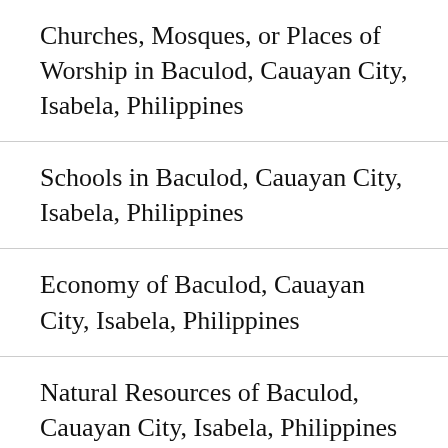Churches, Mosques, or Places of Worship in Baculod, Cauayan City, Isabela, Philippines
Schools in Baculod, Cauayan City, Isabela, Philippines
Economy of Baculod, Cauayan City, Isabela, Philippines
Natural Resources of Baculod, Cauayan City, Isabela, Philippines